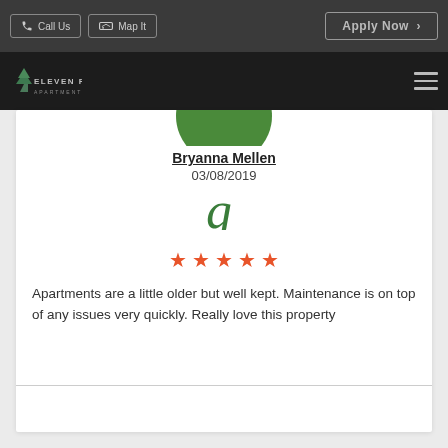Call Us   Map It   Apply Now
[Figure (logo): Eleven Pines Apartments logo with pine tree icon and navigation hamburger menu]
Bryanna Mellen
03/08/2019
[Figure (other): Google review icon - stylized letter g in green color]
[Figure (other): 5 orange/red star rating icons]
Apartments are a little older but well kept. Maintenance is on top of any issues very quickly. Really love this property